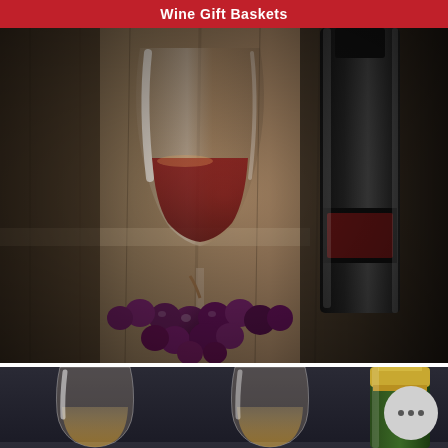Wine Gift Baskets
[Figure (photo): A wine glass filled with red wine and a dark wine bottle, both set in front of a wooden barrel with a bunch of dark red grapes in the foreground.]
[Figure (photo): Two short whiskey glasses filled with amber liquid, with a green-foiled champagne bottle partially visible on the right, and a chat bubble icon overlay in the lower right corner.]